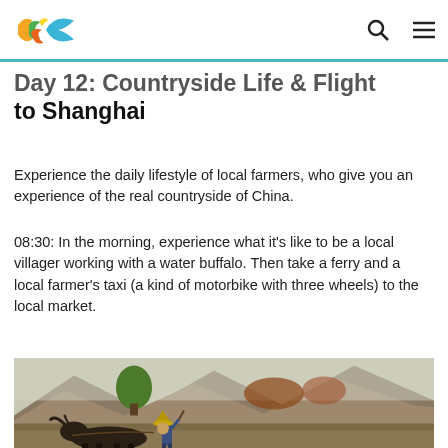Logo and navigation header
Day 12: Countryside Life & Flight to Shanghai
Experience the daily lifestyle of local farmers, who give you an experience of the real countryside of China.
08:30: In the morning, experience what it's like to be a local villager working with a water buffalo. Then take a ferry and a local farmer's taxi (a kind of motorbike with three wheels) to the local market.
[Figure (photo): A farmer with a conical hat guiding a water buffalo in a countryside field, with mountains and trees in the background.]